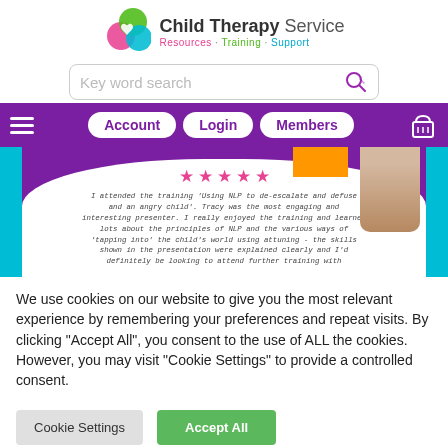[Figure (logo): Child Therapy Service logo with colorful overlapping circles icon and text: Child Therapy Service, Resources · Training · Support]
[Figure (screenshot): Search bar with placeholder text 'Key word search' and search icon]
[Figure (screenshot): Purple navigation bar with hamburger menu, Account, Login, Members buttons and cart icon]
[Figure (screenshot): Testimonial banner with 5 pink stars and italic testimonial text about NLP training]
We use cookies on our website to give you the most relevant experience by remembering your preferences and repeat visits. By clicking "Accept All", you consent to the use of ALL the cookies. However, you may visit "Cookie Settings" to provide a controlled consent.
[Figure (screenshot): Cookie Settings (grey button) and Accept All (green button)]